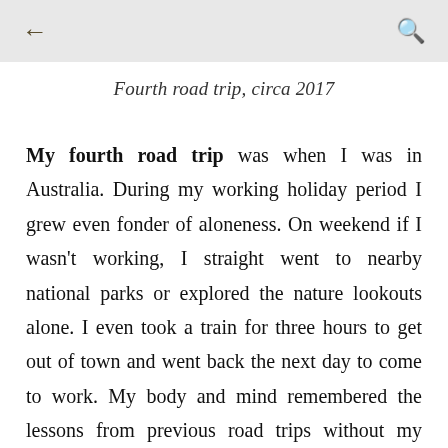← (back) | 🔍 (search)
Fourth road trip, circa 2017
My fourth road trip was when I was in Australia. During my working holiday period I grew even fonder of aloneness. On weekend if I wasn't working, I straight went to nearby national parks or explored the nature lookouts alone. I even took a train for three hours to get out of town and went back the next day to come to work. My body and mind remembered the lessons from previous road trips without my being aware. If I have some company, that's alright, I can split the bills and